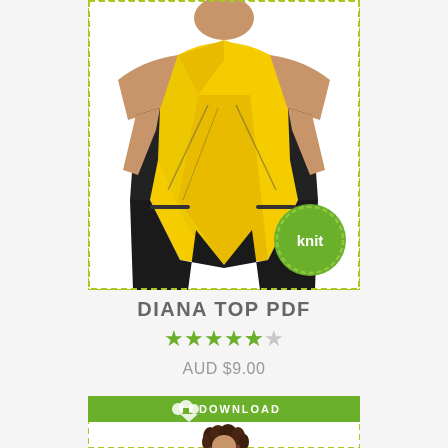[Figure (illustration): Fashion illustration of a woman wearing a yellow sleeveless v-neck wrap-style top with black side panels and black wide-leg pants. A green circular badge with dashed border reads 'knit'.]
DIANA TOP PDF
★★★★½ rating (4.5 stars)
AUD $9.00
[Figure (illustration): Product card with green 'DOWNLOAD' banner at top. Fashion illustration of a woman with short curly brown hair wearing a dark navy top with white zigzag/chevron pattern at the neckline and shoulders.]